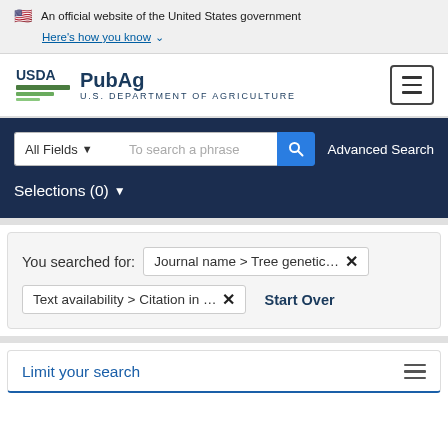An official website of the United States government
Here's how you know
[Figure (logo): USDA PubAg logo with text 'USDA PubAg U.S. DEPARTMENT OF AGRICULTURE']
All Fields   To search a phrase   Advanced Search
Selections (0)
You searched for: Journal name > Tree genetic...  ✕
Text availability > Citation in ...  ✕     Start Over
Limit your search